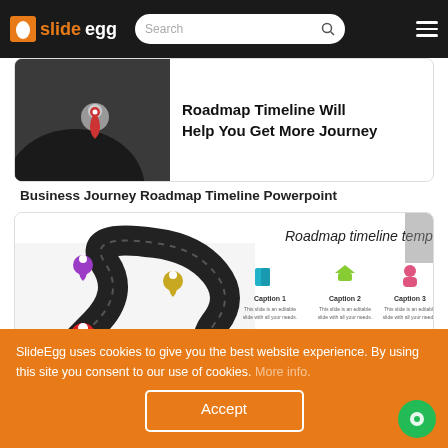slideegg  Search  [hamburger menu]
[Figure (screenshot): Partial view of a roadmap timeline presentation card showing a winding dark road with map pins and text 'Roadmap Timeline Will Help You Get More Journey']
Business Journey Roadmap Timeline Powerpoint
[Figure (screenshot): Roadmap timeline template showing a winding dark road with colorful map pins (purple, yellow, red, green) and three caption sections with icons (Caption 1, Caption 2, Caption 3) and additional icons at the bottom]
SlideEgg uses cookies to give you the best website experience. By using this site you consent to our use of cookies. More info.
Accept